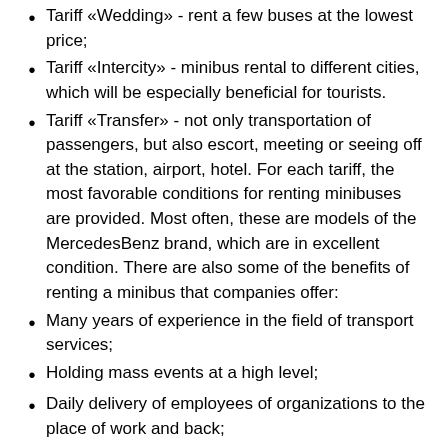Tariff «Wedding» - rent a few buses at the lowest price;
Tariff «Intercity» - minibus rental to different cities, which will be especially beneficial for tourists.
Tariff «Transfer» - not only transportation of passengers, but also escort, meeting or seeing off at the station, airport, hotel. For each tariff, the most favorable conditions for renting minibuses are provided. Most often, these are models of the MercedesBenz brand, which are in excellent condition. There are also some of the benefits of renting a minibus that companies offer:
Many years of experience in the field of transport services;
Holding mass events at a high level;
Daily delivery of employees of organizations to the place of work and back;
Continuous service of excursion routes;
Transportation of children from home to school;
Transfers to the airport and city stations;
Quick and easy checkout.
At the same time, buses can be very different: with the number of seats from 8 to 20, representative and business classes, minibuses rented out with or without a driver. Most often, companies take an individual approach to each client and thus…